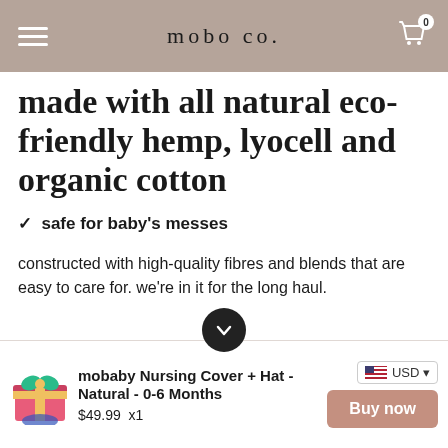mobo co.
made with all natural eco-friendly hemp, lyocell and organic cotton
✓ safe for baby's messes
constructed with high-quality fibres and blends that are easy to care for. we're in it for the long haul.
mobaby Nursing Cover + Hat - Natural - 0-6 Months
$49.99  x1